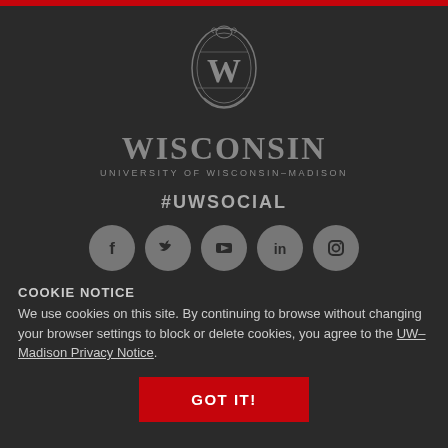[Figure (logo): University of Wisconsin-Madison crest/shield logo with ornate W, followed by WISCONSIN wordmark and UNIVERSITY OF WISCONSIN-MADISON subtitle]
#UWSOCIAL
[Figure (infographic): Row of five circular social media icons: Facebook, Twitter, YouTube, LinkedIn, Instagram]
COOKIE NOTICE
We use cookies on this site. By continuing to browse without changing your browser settings to block or delete cookies, you agree to the UW–Madison Privacy Notice.
GOT IT!